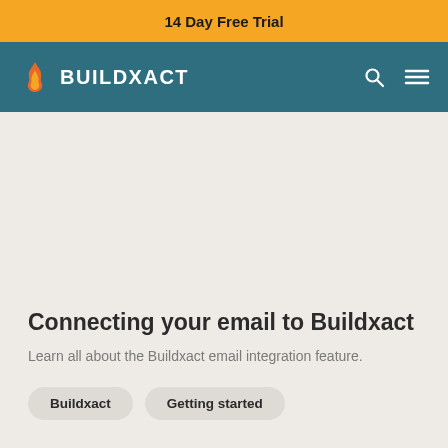14 Day Free Trial
[Figure (logo): Buildxact logo with flame icon and navigation bar on teal background with search and menu icons]
Connecting your email to Buildxact
Learn all about the Buildxact email integration feature.
Buildxact
Getting started